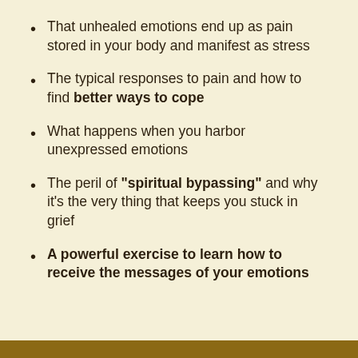That unhealed emotions end up as pain stored in your body and manifest as stress
The typical responses to pain and how to find better ways to cope
What happens when you harbor unexpressed emotions
The peril of “spiritual bypassing” and why it's the very thing that keeps you stuck in grief
A powerful exercise to learn how to receive the messages of your emotions